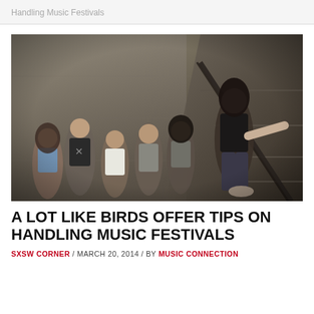Handling Music Festivals
[Figure (photo): Group photo of six band members posed on concrete stairs in a gritty indoor/outdoor stairwell setting. One member leans against a railing on the right wearing a black t-shirt, others stand on the left side in casual attire.]
A LOT LIKE BIRDS OFFER TIPS ON HANDLING MUSIC FESTIVALS
SXSW CORNER / MARCH 20, 2014 / BY MUSIC CONNECTION